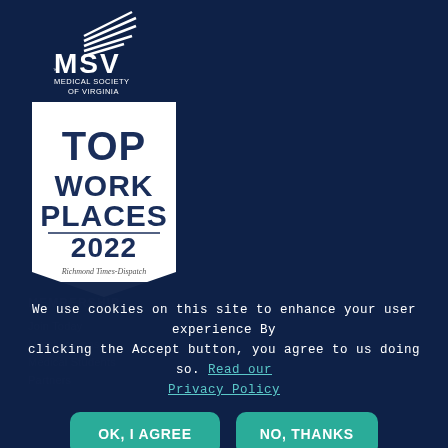[Figure (logo): MSV Medical Society of Virginia logo with flag/banner graphic above text]
[Figure (logo): Top Work Places 2022 badge ribbon, Richmond Times-Dispatch]
MEMBERSHIP
Join Today
Member Census
Medical Students
Partners
We use cookies on this site to enhance your user experience By clicking the Accept button, you agree to us doing so. Read our Privacy Policy
OK, I AGREE
NO, THANKS